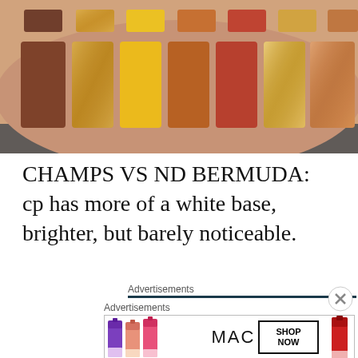[Figure (photo): Close-up photo of makeup color swatches on skin — two rows of rectangular swatches in warm tones: brown, gold/orange shimmer, yellow, orange-brown, red-orange, gold shimmer, copper shimmer, and peachy-orange.]
CHAMPS VS ND BERMUDA: cp has more of a white base, brighter, but barely noticeable.
Advertisements
[Figure (screenshot): MAC Cosmetics advertisement banner showing colorful lipsticks on the left, MAC logo in center, SHOP NOW button, and a red lipstick on the right.]